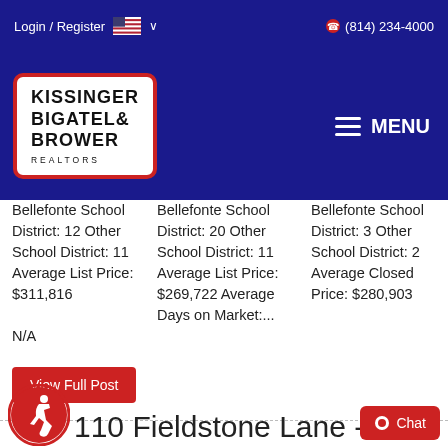Login / Register   🇺🇸 ∨   (814) 234-4000
[Figure (logo): Kissinger Bigatel & Brower Realtors logo in white box with red border on dark blue background]
Bellefonte School District: 12 Other School District: 11 Average List Price: $311,816
N/A
Bellefonte School District: 20 Other School District: 11 Average List Price: $269,722 Average Days on Market:...
Bellefonte School District: 3 Other School District: 2 Average Closed Price: $280,903
View Full Post
110 Fieldstone Lane -
● Chat